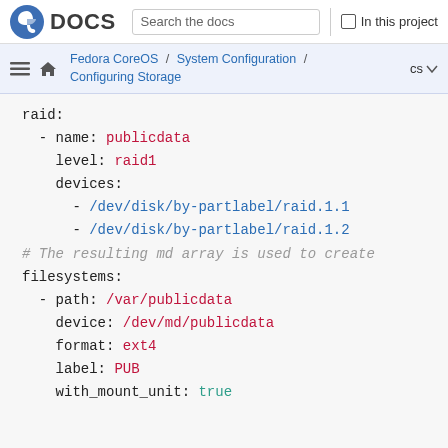Fedora DOCS | Search the docs | In this project
Fedora CoreOS / System Configuration / Configuring Storage  cs
raid:
  - name: publicdata
    level: raid1
    devices:
      - /dev/disk/by-partlabel/raid.1.1
      - /dev/disk/by-partlabel/raid.1.2
# The resulting md array is used to create
filesystems:
  - path: /var/publicdata
    device: /dev/md/publicdata
    format: ext4
    label: PUB
    with_mount_unit: true